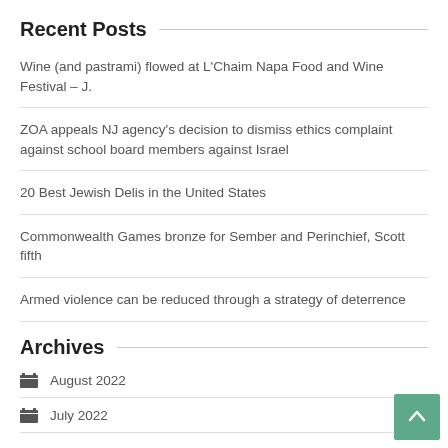Recent Posts
Wine (and pastrami) flowed at L'Chaim Napa Food and Wine Festival – J.
ZOA appeals NJ agency's decision to dismiss ethics complaint against school board members against Israel
20 Best Jewish Delis in the United States
Commonwealth Games bronze for Sember and Perinchief, Scott fifth
Armed violence can be reduced through a strategy of deterrence
Archives
August 2022
July 2022